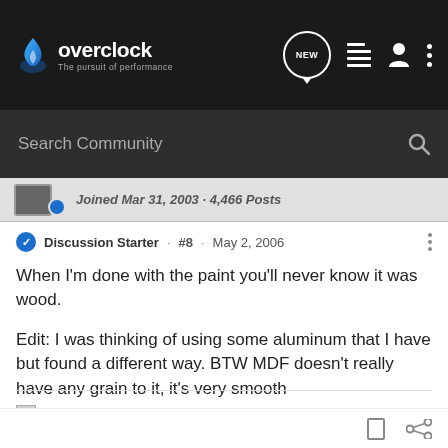overclock.net • The pursuit of performance
Search Community
Joined Mar 31, 2003 · 4,466 Posts
Discussion Starter · #8 · May 2, 2006
When I'm done with the paint you'll never know it was wood.

Edit: I was thinking of using some aluminum that I have but found a different way. BTW MDF doesn't really have any grain to it, it's very smooth
coolsmiley03.png Proud member of the Official All-Canadian Club!!! coolsmiley03.png